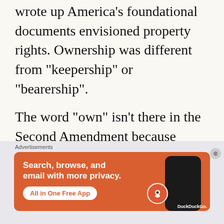wrote up America's foundational documents envisioned property rights. Ownership was different from “keepership” or “bearership”.
The word “own” isn’t there in the Second Amendment because Madison didn’t want it there. He saw a clear difference between what keeping and bearing a firearm was
[Figure (other): DuckDuckGo advertisement banner: orange background with text 'Search, browse, and email with more privacy. All in One Free App' and a phone graphic with DuckDuckGo logo]